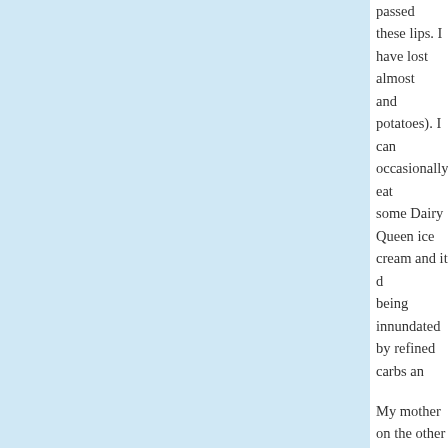passed these lips. I have lost almost and potatoes). I can occasionally eat some Dairy Queen ice cream and it d being innundated by refined carbs an
My mother on the other hand has A+ veggetables but not too much meat. S feels sick and bloated. All of this is ex everywhere read and adhered to the No one book can solve all of humanit change in my life.
PS: I may have to book title a little wr years ago that I read it, but I know tha this info and find the book...in the die
Posted by: Joelle | July 17, 2007 at 05:13 AM
[Figure (illustration): Avatar image: green and white geometric leaf/network pattern on square background]
I appreciate that you said people are their way is the only way and anyone eater but I avoid carbs. My standard r I switched to this diet after being diag with steroids for the rest of my life, wh issue anymore. The point is we are di